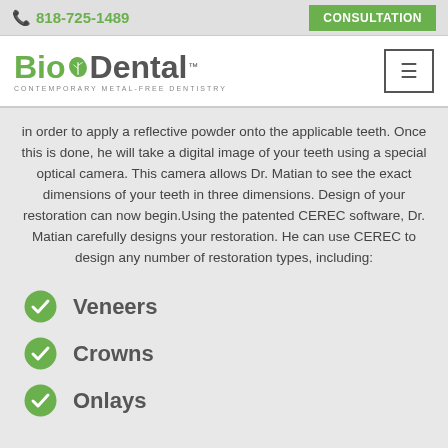📞 818-725-1489   CONSULTATION
[Figure (logo): BioDental logo with green leaf, tagline: CONTEMPORARY METAL-FREE DENTISTRY, and hamburger menu button]
in order to apply a reflective powder onto the applicable teeth. Once this is done, he will take a digital image of your teeth using a special optical camera. This camera allows Dr. Matian to see the exact dimensions of your teeth in three dimensions. Design of your restoration can now begin.Using the patented CEREC software, Dr. Matian carefully designs your restoration. He can use CEREC to design any number of restoration types, including:
Veneers
Crowns
Onlays